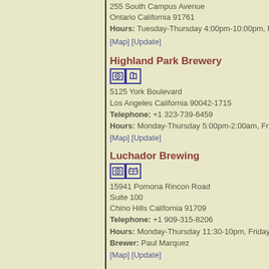255 South Campus Avenue
Ontario California 91761
Hours: Tuesday-Thursday 4:00pm-10:00pm, F...
[Map] [Update]
Highland Park Brewery
5125 York Boulevard
Los Angeles California 90042-1715
Telephone: +1 323-739-6459
Hours: Monday-Thursday 5:00pm-2:00am, Fri...
[Map] [Update]
Luchador Brewing
15941 Pomona Rincon Road
Suite 100
Chino Hills California 91709
Telephone: +1 909-315-8206
Hours: Monday-Thursday 11:30-10pm, Friday...
Brewer: Paul Marquez
[Map] [Update]
Kings Brewing Company
8560 Vineyard Avenue
Suite 301
Rancho Cucamonga California 91730
Telephone: +1 909-727-3333
Hours: Monday 2:00pm-11:00pm, Thursday...